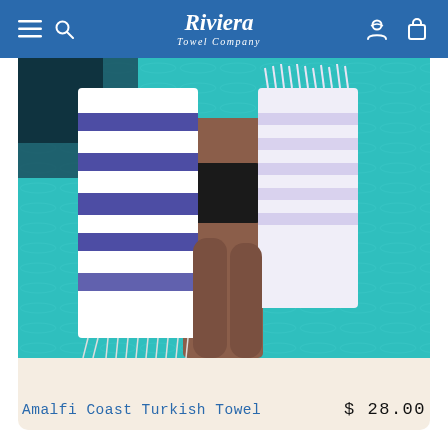Riviera Towel Company
[Figure (photo): A person standing near a turquoise pool holding two Turkish towels — one with navy blue and white stripes, and one white with lavender stripes and fringe.]
Amalfi Coast Turkish Towel
$ 28.00